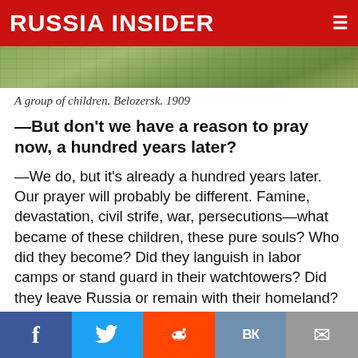RUSSIA INSIDER
[Figure (photo): A cropped photo showing a green outdoor scene, partially visible at the top of the page.]
A group of children. Belozersk. 1909
—But don't we have a reason to pray now, a hundred years later?
—We do, but it's already a hundred years later. Our prayer will probably be different. Famine, devastation, civil strife, war, persecutions—what became of these children, these pure souls? Who did they become? Did they languish in labor camps or stand guard in their watchtowers? Did they leave Russia or remain with their homeland? Did they write their names on Reichstag or
Facebook | Twitter | Reddit | VK | Email